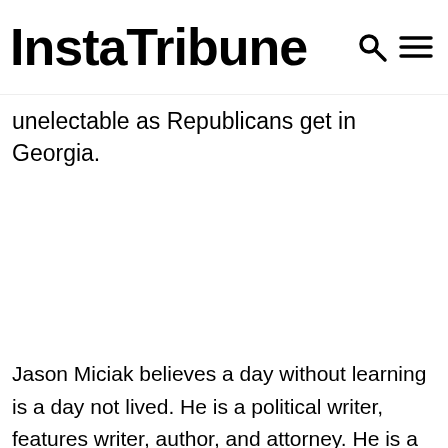InstaTribune
unelectable as Republicans get in Georgia.
Jason Miciak believes a day without learning is a day not lived. He is a political writer, features writer, author, and attorney. He is a Canadian-born dual citizen who spent his